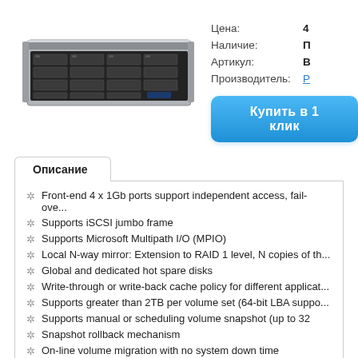[Figure (photo): A rackmount server/storage unit with multiple drive bays visible at the front, silver and black colored chassis, 4U form factor.]
Цена:
Наличие:
Артикул:
Производитель:
Описание
Front-end 4 x 1Gb ports support independent access, fail-ove...
Supports iSCSI jumbo frame
Supports Microsoft Multipath I/O (MPIO)
Local N-way mirror: Extension to RAID 1 level, N copies of th...
Global and dedicated hot spare disks
Write-through or write-back cache policy for different applicat...
Supports greater than 2TB per volume set (64-bit LBA suppo...
Supports manual or scheduling volume snapshot (up to 32
Snapshot rollback mechanism
On-line volume migration with no system down time